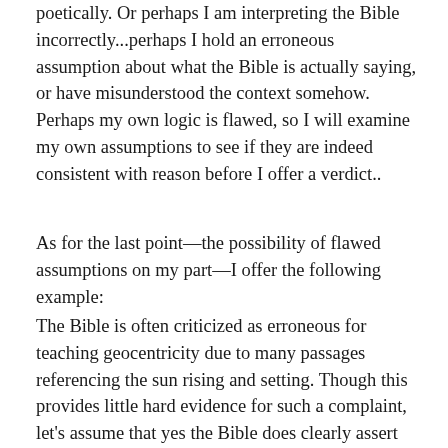poetically. Or perhaps I am interpreting the Bible incorrectly...perhaps I hold an erroneous assumption about what the Bible is actually saying, or have misunderstood the context somehow. Perhaps my own logic is flawed, so I will examine my own assumptions to see if they are indeed consistent with reason before I offer a verdict..
As for the last point—the possibility of flawed assumptions on my part—I offer the following example:
The Bible is often criticized as erroneous for teaching geocentricity due to many passages referencing the sun rising and setting. Though this provides little hard evidence for such a complaint, let's assume that yes the Bible does clearly assert geocentricity. Now, we might be quick to dismiss such an assertion as impossible. After all, science has long since proven that the earth revolves